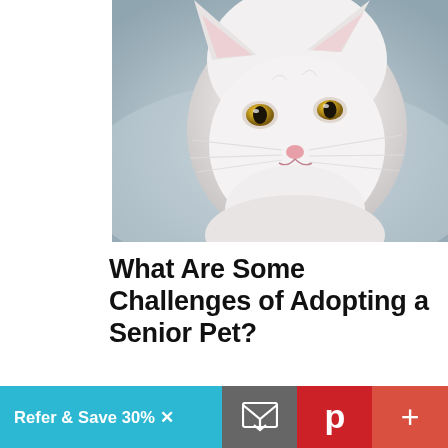[Figure (photo): Close-up photo of a white cat with golden/amber eyes resting its head, against a soft blurred background]
What Are Some Challenges of Adopting a Senior Pet?
Older pets may naturally have a few more health concerns, aches, pains, or disabilities, but this does not deter their hearts from loving you completely. They may need special food or medication or a little quieter house to call home, but mostly they need the chance to be part of a
Refer & Save 30% X